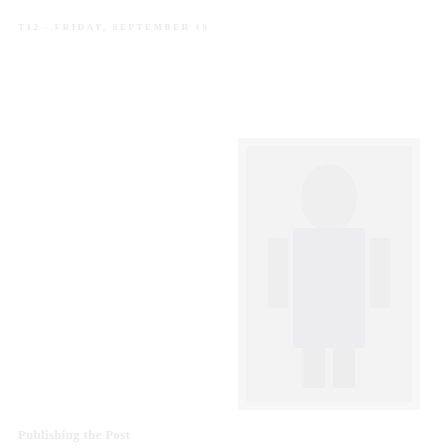T12 · Friday, September 19
[Figure (photo): A faded/washed-out photograph of what appears to be a person or figure, very low contrast against white background, positioned in the upper-center-right area of the page.]
Publishing the Post
George William Curtis, Publisher
A passage of body text discussing publishing activities, very faint and nearly invisible against the white background.
Additional body text continuing below, also very faint.